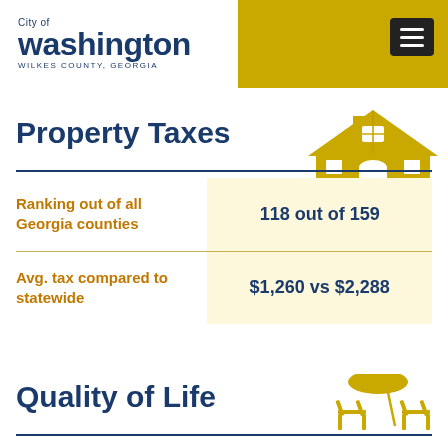City of washington WILKES COUNTY, GEORGIA
Property Taxes
|  |  |
| --- | --- |
| Ranking out of all Georgia counties | 118 out of 159 |
| Avg. tax compared to statewide | $1,260 vs $2,288 |
Quality of Life